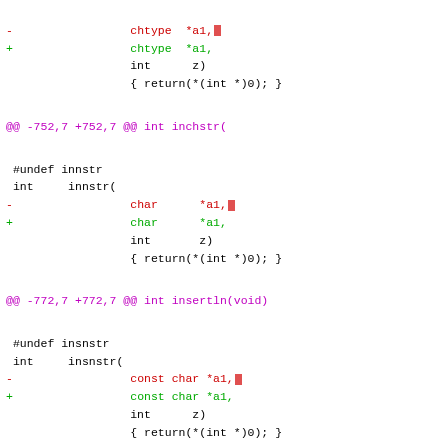-                 chtype  *a1,
+                 chtype  *a1,
                  int      z)
                  { return(*(int *)0); }
@@ -752,7 +752,7 @@ int inchstr(
#undef innstr
 int     innstr(
-                 char      *a1,
+                 char      *a1,
                  int       z)
                  { return(*(int *)0); }
@@ -772,7 +772,7 @@ int insertln(void)
#undef insnstr
 int     insnstr(
-                 const char *a1,
+                 const char *a1,
                  int      z)
                  { return(*(int *)0); }
@@ -788,323 +788,323 @@ int      instr(
#undef move
 int     move(
-                 int       a1,
+                 int       a1,
                  int      z)
                  { return(*(int *)0); }